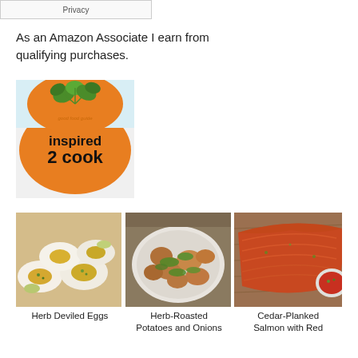Privacy
As an Amazon Associate I earn from qualifying purchases.
[Figure (illustration): Book cover with orange background and parsley, text reading 'inspired 2 cook']
[Figure (photo): Three food photos side by side: Herb Deviled Eggs, Herb-Roasted Potatoes and Onions, Cedar-Planked Salmon with Red sauce]
Herb Deviled Eggs
Herb-Roasted Potatoes and Onions
Cedar-Planked Salmon with Red